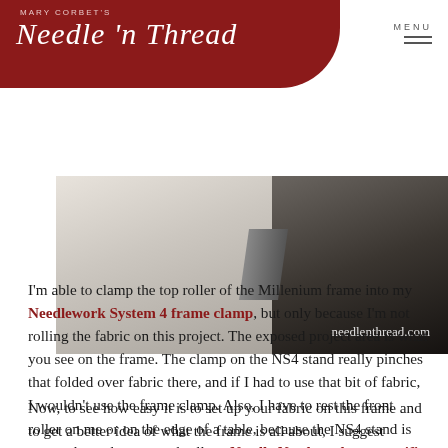MARY CORBET'S Needle 'n Thread | MENU
[Figure (photo): Close-up photo of needlework frame components showing fabric and wooden roller, with watermark 'needlenthread.com']
I'm able to clamp the top roller of the Millenium frame into my Needlework System 4 frame clamp, but only because I'm not rolling the fabric on this project. The exposed project area is what you see on the frame. The clamp on the NS4 stand really pinches that folded over fabric there, and if I had to use that bit of fabric, I wouldn't use the frame clamp. Also, I have to rest the front roller on me or on the edge of a table, because the NS4 stand is not made to clamp round rollers. Needle Needs makes a specific floor stand (and also a lap stand / table stand) to hold the Millenium frame, but right now, I have to use what I have.
Now, to see how easy it is to set up your fabric on this frame and to get a better idea of what the frame is all about, I suggest watching the video for setting up the Millenium frame. The video